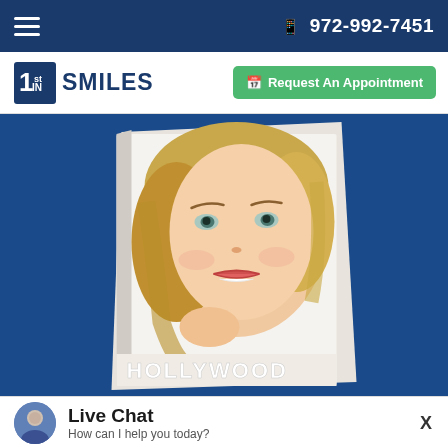☰  📱 972-992-7451
[Figure (logo): 1st in Smiles dental practice logo with stylized numeral]
Request An Appointment
[Figure (photo): Book cover showing smiling blonde woman with text HOLLYWOOD at bottom]
Live Chat
How can I help you today?